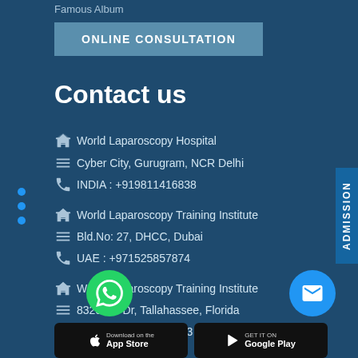Famous Album
ONLINE CONSULTATION
Contact us
World Laparoscopy Hospital
Cyber City, Gurugram, NCR Delhi
INDIA : +919811416838
World Laparoscopy Training Institute
Bld.No: 27, DHCC, Dubai
UAE : +971525857874
World Laparoscopy Training Institute
8320 Inv Dr, Tallahassee, Florida
USA : +1 321 250 7653
[Figure (illustration): WhatsApp contact button (green circle with phone handset icon)]
[Figure (illustration): Email contact button (blue circle with envelope icon)]
Download on the
GET IT ON